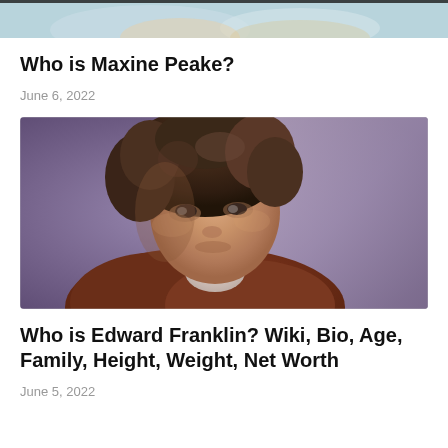[Figure (photo): Partial top image, cropped — bottom portion of a person with light background visible]
Who is Maxine Peake?
June 6, 2022
[Figure (photo): Young man with curly brown hair wearing a brown jacket, looking directly at camera with a serious expression, purple/mauve background]
Who is Edward Franklin? Wiki, Bio, Age, Family, Height, Weight, Net Worth
June 5, 2022